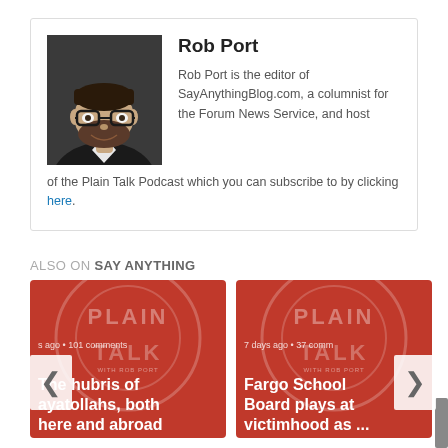[Figure (photo): Headshot of Rob Port, a man with dark hair, beard, and glasses in a dark jacket]
Rob Port
Rob Port is the editor of SayAnythingBlog.com, a columnist for the Forum News Service, and host of the Plain Talk Podcast which you can subscribe to by clicking here.
ALSO ON SAY ANYTHING
[Figure (screenshot): Card thumbnail with red background and Plain Talk podcast logo, showing text: 's ago • 101 comments' and 'The hubris of ayatollahs, both here and abroad']
[Figure (screenshot): Card thumbnail with red background and Plain Talk podcast logo, showing text: '7 days ago • 37 comm' and 'Fargo School Board plays at victimhood as ...']